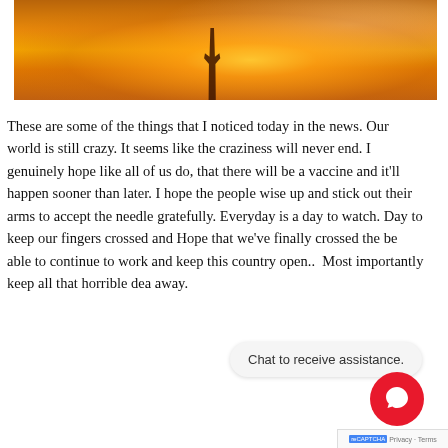[Figure (photo): Sunset photo with warm orange and golden tones, showing a silhouette of a person with arms raised against a bright glowing sun]
These are some of the things that I noticed today in the news. Our world is still crazy. It seems like the craziness will never end. I genuinely hope like all of us do, that there will be a vaccine and it'll happen sooner than later. I hope the people wise up and stick out their arms to accept the needle gratefully. Everyday is a day to watch. Day to keep our fingers crossed and Hope that we've finally crossed the be able to continue to work and keep this country open..  Most importantly keep all that horrible dea away.